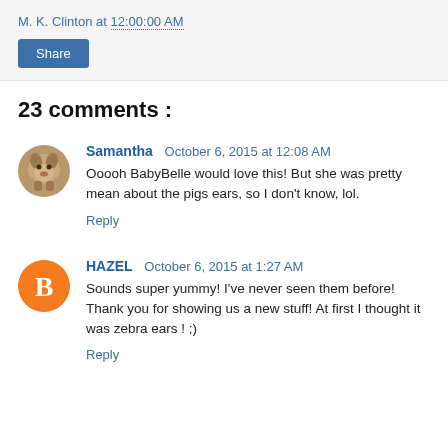M. K. Clinton at 12:00:00 AM
Share
23 comments :
Samantha   October 6, 2015 at 12:08 AM
Ooooh BabyBelle would love this! But she was pretty mean about the pigs ears, so I don't know, lol.
Reply
HAZEL   October 6, 2015 at 1:27 AM
Sounds super yummy! I've never seen them before! Thank you for showing us a new stuff! At first I thought it was zebra ears ! ;)
Reply